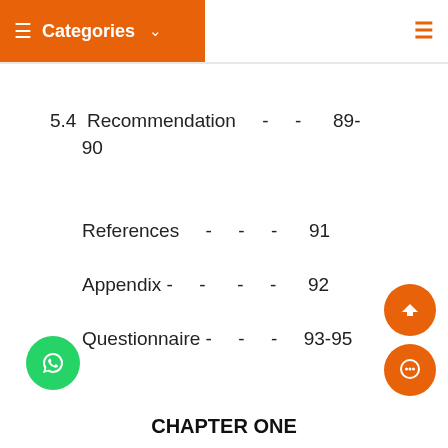Categories
5.4  Recommendation  -  -  89-90
References  -  -  -  91
Appendix  -  -  -  -  92
Questionnaire  -  -  -  93-95
CHAPTER ONE